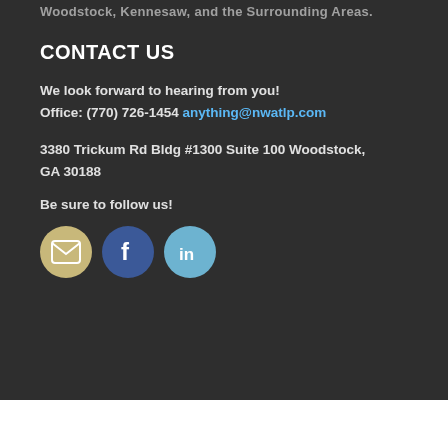Woodstock, Kennesaw, and the Surrounding Areas.
CONTACT US
We look forward to hearing from you!
Office: (770) 726-1454 anything@nwatlp.com
3380 Trickum Rd Bldg #1300 Suite 100 Woodstock, GA 30188
Be sure to follow us!
[Figure (infographic): Three circular social media icons: email (tan/gold), Facebook (dark blue), LinkedIn (light blue)]